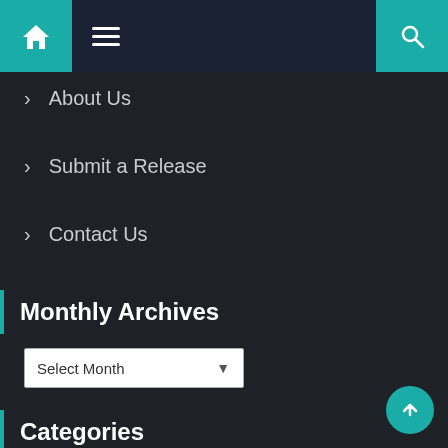[Figure (screenshot): Navigation header bar with teal home icon on left, hamburger menu in center on dark navy background, teal search icon on right]
> About Us
> Submit a Release
> Contact Us
Monthly Archives
Select Month dropdown
Categories
Select Category dropdown